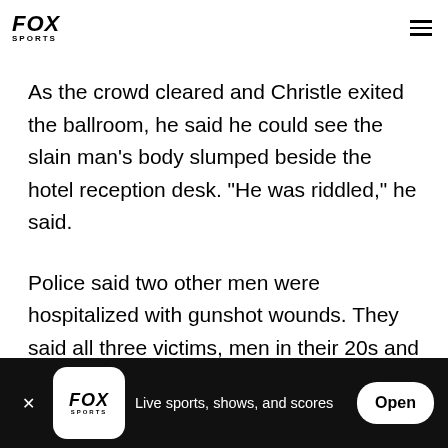FOX SPORTS
As the crowd cleared and Christle exited the ballroom, he said he could see the slain man's body slumped beside the hotel reception desk. "He was riddled," he said.
Police said two other men were hospitalized with gunshot wounds. They said all three victims, men in their 20s and 30s, were believed to be members of the same group and all had criminal connections.
FOX SPORTS — Live sports, shows, and scores — Open